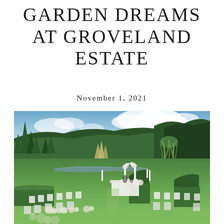GARDEN DREAMS AT GROVELAND ESTATE
November 1, 2021
[Figure (photo): Outdoor garden wedding venue at Groveland Estate showing a lush green lawn with white ghost chairs arranged in rows, white floral arch/altar, trimmed hedges, a pond or stream in the background, weeping willow and tall conifer trees, with a forested hillside and blue cloudy sky in the background.]